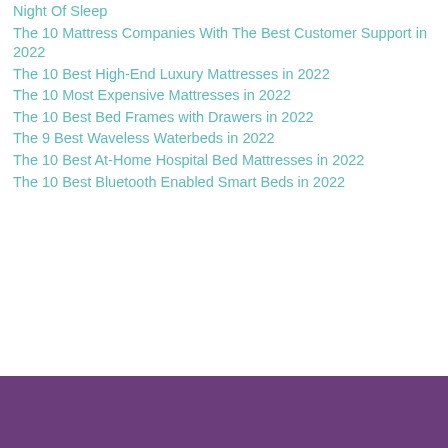Night Of Sleep
The 10 Mattress Companies With The Best Customer Support in 2022
The 10 Best High-End Luxury Mattresses in 2022
The 10 Most Expensive Mattresses in 2022
The 10 Best Bed Frames with Drawers in 2022
The 9 Best Waveless Waterbeds in 2022
The 10 Best At-Home Hospital Bed Mattresses in 2022
The 10 Best Bluetooth Enabled Smart Beds in 2022